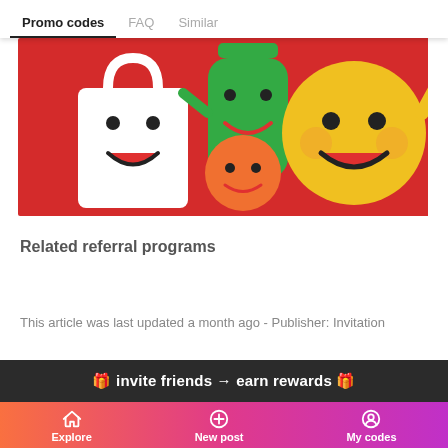Promo codes  FAQ  Similar
[Figure (illustration): Colorful cartoon characters on a red background: a white shopping bag with a smiley face, a green bottle character, a small orange character, and a large yellow round character with arms raised.]
Related referral programs
This article was last updated a month ago - Publisher: Invitation
🎁 invite friends → earn rewards 🎁
Explore  New post  My codes